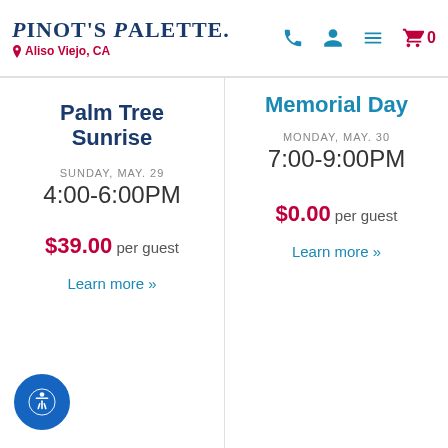Pinot's Palette — Aliso Viejo, CA
Palm Tree Sunrise
SUNDAY, MAY. 29
4:00-6:00PM
$39.00 per guest
Learn more »
Memorial Day
MONDAY, MAY. 30
7:00-9:00PM
$0.00 per guest
Learn more »